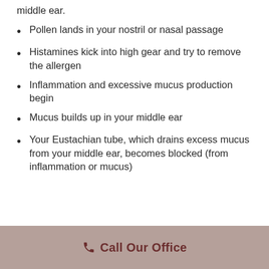middle ear.
Pollen lands in your nostril or nasal passage
Histamines kick into high gear and try to remove the allergen
Inflammation and excessive mucus production begin
Mucus builds up in your middle ear
Your Eustachian tube, which drains excess mucus from your middle ear, becomes blocked (from inflammation or mucus)
Call Our Office